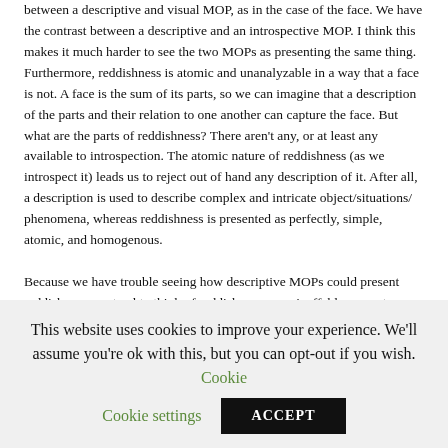between a descriptive and visual MOP, as in the case of the face. We have the contrast between a descriptive and an introspective MOP. I think this makes it much harder to see the two MOPs as presenting the same thing. Furthermore, reddishness is atomic and unanalyzable in a way that a face is not. A face is the sum of its parts, so we can imagine that a description of the parts and their relation to one another can capture the face. But what are the parts of reddishness? There aren't any, or at least any available to introspection. The atomic nature of reddishness (as we introspect it) leads us to reject out of hand any description of it. After all, a description is used to describe complex and intricate object/situations/ phenomena, whereas reddishness is presented as perfectly, simple, atomic, and homogenous.

Because we have trouble seeing how descriptive MOPs could present reddishness, we tend to think of reddishness as an ineffable property — incapable to described using words. Thus, we have here a feature of experience that disposes us to judge
This website uses cookies to improve your experience. We'll assume you're ok with this, but you can opt-out if you wish. Cookie settings ACCEPT